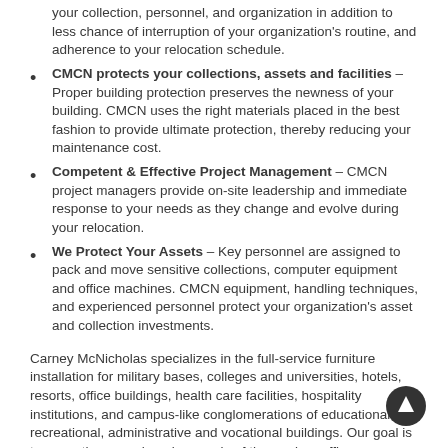your collection, personnel, and organization in addition to less chance of interruption of your organization's routine, and adherence to your relocation schedule.
CMCN protects your collections, assets and facilities – Proper building protection preserves the newness of your building. CMCN uses the right materials placed in the best fashion to provide ultimate protection, thereby reducing your maintenance cost.
Competent & Effective Project Management – CMCN project managers provide on-site leadership and immediate response to your needs as they change and evolve during your relocation.
We Protect Your Assets – Key personnel are assigned to pack and move sensitive collections, computer equipment and office machines. CMCN equipment, handling techniques, and experienced personnel protect your organization's asset and collection investments.
Carney McNicholas specializes in the full-service furniture installation for military bases, colleges and universities, hotels, resorts, office buildings, health care facilities, hospitality institutions, and campus-like conglomerations of educational, recreational, administrative and vocational buildings. Our goal is to serve the ever-changing needs of the modern office, dormitory, and hospitality environment.